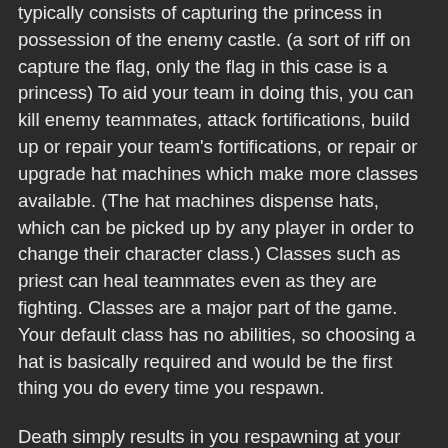typically consists of capturing the princess in possession of the enemy castle. (a sort of riff on capture the flag, only the flag in this case is a princess) To aid your team in doing this, you can kill enemy teammates, attack fortifications, build up or repair your team's fortifications, or repair or upgrade hat machines which make more classes available. (The hat machines dispense hats, which can be picked up by any player in order to change their character class.) Classes such as priest can heal teammates even as they are fighting. Classes are a major part of the game. Your default class has no abilities, so choosing a hat is basically required and would be the first thing you do every time you respawn.
Death simply results in you respawning at your castle a few seconds later, so simply killing enemies may not be the most effective way to make your team win. But it does hold back that player temporarily, especially in larger maps, since the killed player is sent back to their castle.